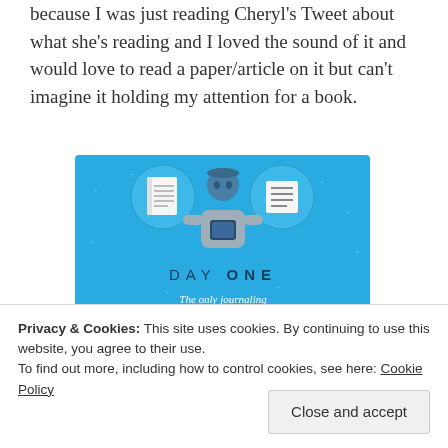because I was just reading Cheryl's Tweet about what she's reading and I loved the sound of it and would love to read a paper/article on it but can't imagine it holding my attention for a book.
[Figure (illustration): Day One journaling app advertisement with light blue background, showing a cartoon figure holding a phone with two circular icons (notebook and lines) at top, text 'DAY ONE', tagline 'The only journaling app you'll ever need.', and a dark 'Get the app' button.]
Privacy & Cookies: This site uses cookies. By continuing to use this website, you agree to their use. To find out more, including how to control cookies, see here: Cookie Policy